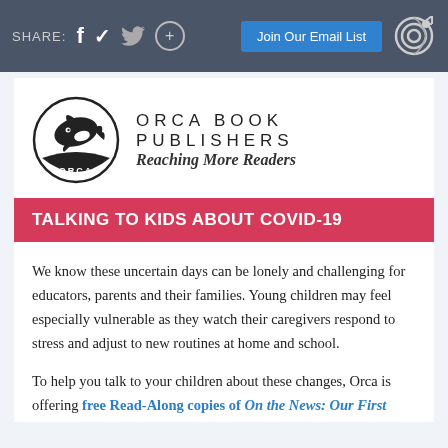SHARE: f [twitter] (+)  |  Join Our Email List  [target icon]
[Figure (logo): Orca Book Publishers logo: black and white orca whale in a circle with 'ORCA' text at bottom, next to the text 'ORCA BOOK PUBLISHERS / Reaching More Readers']
TALKING TO KIDS ABOUT COVID-19
We know these uncertain days can be lonely and challenging for educators, parents and their families. Young children may feel especially vulnerable as they watch their caregivers respond to stress and adjust to new routines at home and school.
To help you talk to your children about these changes, Orca is offering free Read-Along copies of On the News: Our First